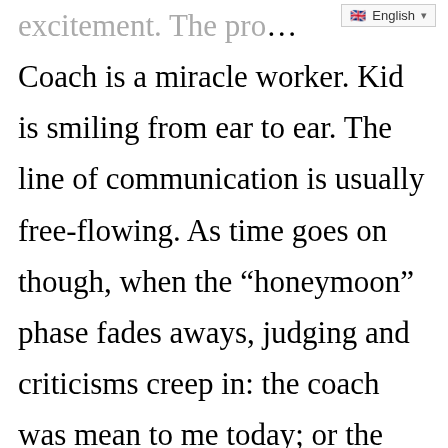excitement. The pro… Coach is a miracle worker. Kid is smiling from ear to ear. The line of communication is usually free-flowing. As time goes on though, when the “honeymoon” phase fades aways, judging and criticisms creep in: the coach was mean to me today; or the coach didn’t help me today; or I had to play with the little kids; or I was put on the lowest court today…